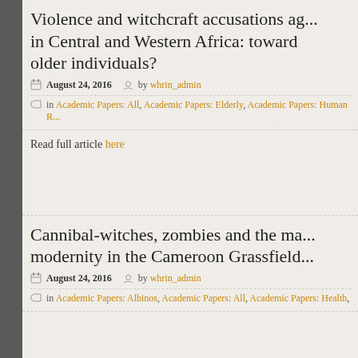Violence and witchcraft accusations against older individuals in Central and Western Africa: toward older individuals?
August 24, 2016  by whrin_admin
in Academic Papers: All, Academic Papers: Elderly, Academic Papers: Human R...
Read full article here
Cannibal-witches, zombies and the ma... modernity in the Cameroon Grassfield...
August 24, 2016  by whrin_admin
in Academic Papers: Albinos, Academic Papers: All, Academic Papers: Health,...